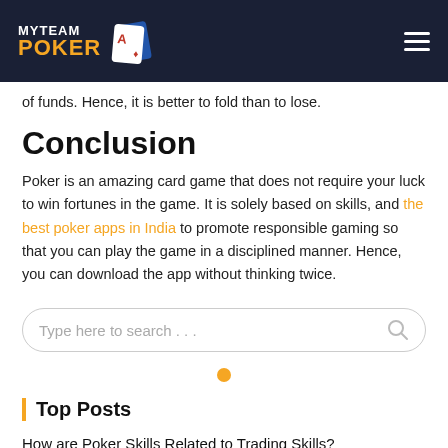MyTeam Poker
of funds. Hence, it is better to fold than to lose.
Conclusion
Poker is an amazing card game that does not require your luck to win fortunes in the game. It is solely based on skills, and the best poker apps in India to promote responsible gaming so that you can play the game in a disciplined manner. Hence, you can download the app without thinking twice.
Type here to search . . .
Top Posts
How are Poker Skills Related to Trading Skills?